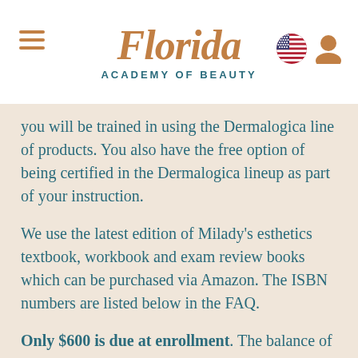Florida Academy of Beauty
you will be trained in using the Dermalogica line of products. You also have the free option of being certified in the Dermalogica lineup as part of your instruction.
We use the latest edition of Milady's esthetics textbook, workbook and exam review books which can be purchased via Amazon.  The ISBN numbers are listed below in the FAQ.
Only $600 is due at enrollment.  The balance of tuition can be spread out over the program.  This equates to $970 per month